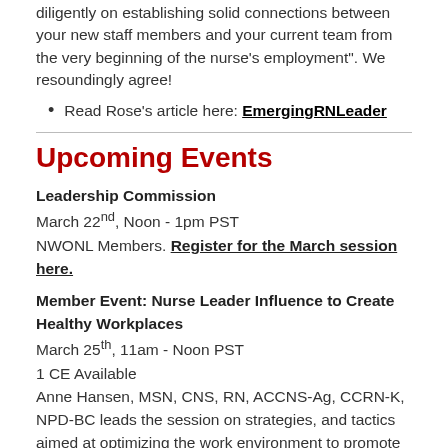diligently on establishing solid connections between your new staff members and your current team from the very beginning of the nurse's employment". We resoundingly agree!
Read Rose's article here: EmergingRNLeader
Upcoming Events
Leadership Commission
March 22nd, Noon - 1pm PST
NWONL Members. Register for the March session here.
Member Event: Nurse Leader Influence to Create Healthy Workplaces
March 25th, 11am - Noon PST
1 CE Available
Anne Hansen, MSN, CNS, RN, ACCNS-Ag, CCRN-K, NPD-BC leads the session on strategies, and tactics aimed at optimizing the work environment to promote